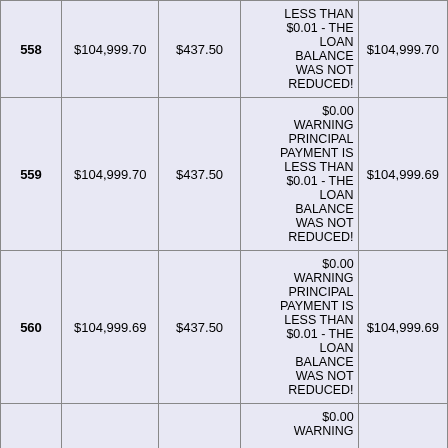| Payment # | Balance | Payment | Principal | New Balance |
| --- | --- | --- | --- | --- |
| 558 | $104,999.70 | $437.50 | $0.00
WARNING PRINCIPAL PAYMENT IS LESS THAN $0.01 - THE LOAN BALANCE WAS NOT REDUCED! | $104,999.70 |
| 559 | $104,999.70 | $437.50 | $0.00
WARNING PRINCIPAL PAYMENT IS LESS THAN $0.01 - THE LOAN BALANCE WAS NOT REDUCED! | $104,999.69 |
| 560 | $104,999.69 | $437.50 | $0.00
WARNING PRINCIPAL PAYMENT IS LESS THAN $0.01 - THE LOAN BALANCE WAS NOT REDUCED! | $104,999.69 |
| 561 |  |  | $0.00
WARNING |  |